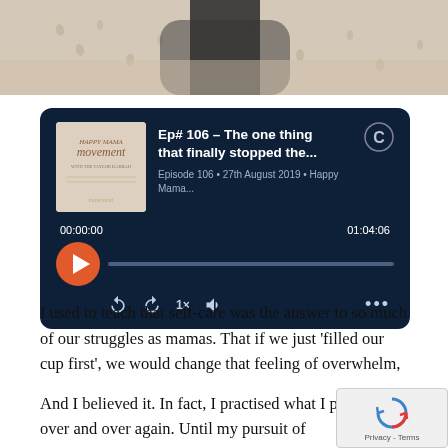[Figure (photo): Cropped photo of a person on a sandy beach, showing lower body and feet area with footprints in sand]
[Figure (screenshot): Podcast player widget with dark navy background. Shows episode: Ep# 106 - The one thing that finally stopped the... Episode 106 • 27th August 2019 • Happy Mama... with play controls showing 00:00:00 / 01:04:06 and album art for Happy Mama Movement]
I used to teach that self-care was the answer to so much of our struggles as mamas. That if we just 'filled our cup first', we would change that feeling of overwhelm,
And I believed it. In fact, I practised what I preached – over and over again. Until my pursuit of